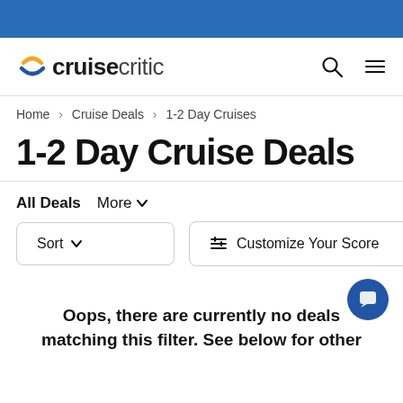[Figure (logo): Cruise Critic logo with orange and blue wave icon]
Home > Cruise Deals > 1-2 Day Cruises
1-2 Day Cruise Deals
All Deals  More
Sort   Customize Your Score  Try It!
Oops, there are currently no deals matching this filter. See below for other